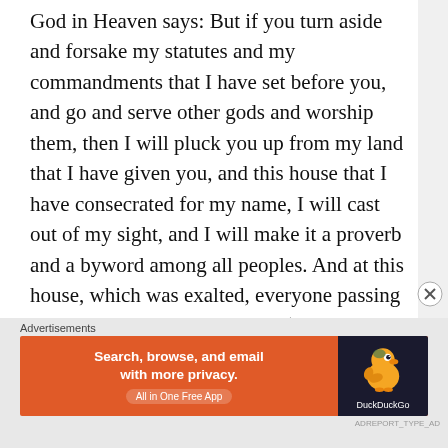God in Heaven says: But if you turn aside and forsake my statutes and my commandments that I have set before you, and go and serve other gods and worship them, then I will pluck you up from my land that I have given you, and this house that I have consecrated for my name, I will cast out of my sight, and I will make it a proverb and a byword among all peoples. And at this house, which was exalted, everyone passing by will be astonished and say, ‘Why has the Lord done thus to this land and to this house?’ Then they will say, ‘Because they abandoned the Lord, the God of their
Advertisements
[Figure (other): DuckDuckGo advertisement banner. Orange background on left with text: 'Search, browse, and email with more privacy. All in One Free App'. Dark right panel with DuckDuckGo duck logo and 'DuckDuckGo' text.]